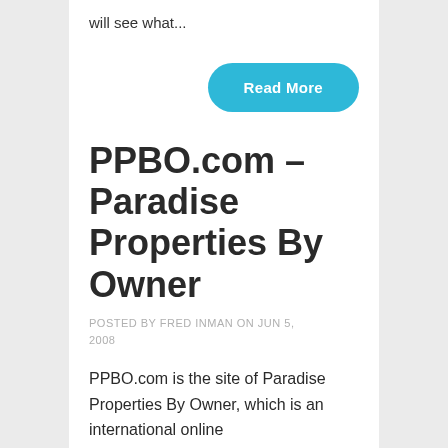will see what…
[Figure (other): Teal/cyan Read More button with rounded corners, right-aligned]
PPBO.com – Paradise Properties By Owner
POSTED BY FRED INMAN ON JUN 5, 2008
PPBO.com is the site of Paradise Properties By Owner, which is an international online